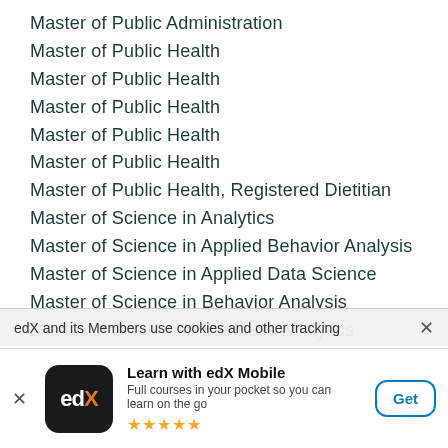Master of Public Administration
Master of Public Health
Master of Public Health
Master of Public Health
Master of Public Health
Master of Public Health
Master of Public Health, Registered Dietitian
Master of Science in Analytics
Master of Science in Applied Behavior Analysis
Master of Science in Applied Data Science
Master of Science in Behavior Analysis
Master of Science in Business Analytics
Master of Science in Business Analytics
edX and its Members use cookies and other tracking
Learn with edX Mobile
Full courses in your pocket so you can learn on the go